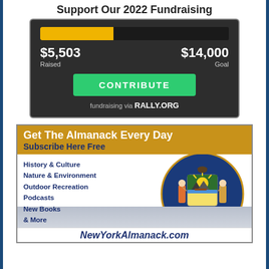Support Our 2022 Fundraising
[Figure (infographic): Fundraising progress bar showing $5,503 raised of $14,000 goal (~39%), with a green CONTRIBUTE button and 'fundraising via RALLY.ORG' text, on a dark background]
[Figure (infographic): New York Almanack advertisement with gold header 'Get The Almanack Every Day / Subscribe Here Free', list of topics (History & Culture, Nature & Environment, Outdoor Recreation, Podcasts, New Books, & More), NY state seal, city skyline, and NewYorkAlmanack.com footer]